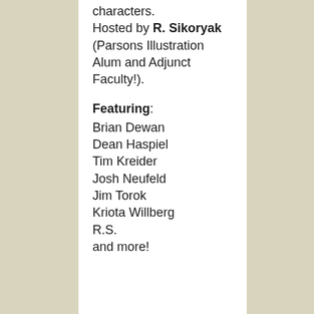characters. Hosted by R. Sikoryak (Parsons Illustration Alum and Adjunct Faculty!).
Featuring:
Brian Dewan
Dean Haspiel
Tim Kreider
Josh Neufeld
Jim Torok
Kriota Willberg
R.S.
and more!